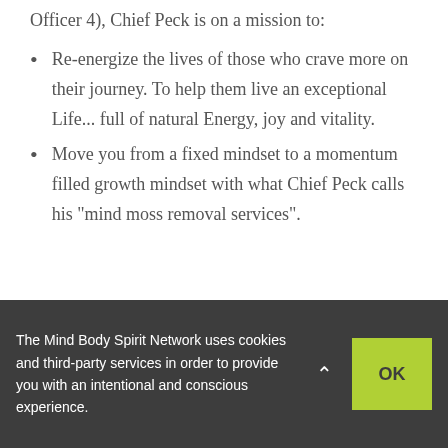Officer 4), Chief Peck is on a mission to:
Re-energize the lives of those who crave more on their journey. To help them live an exceptional Life... full of natural Energy, joy and vitality.
Move you from a fixed mindset to a momentum filled growth mindset with what Chief Peck calls his “mind moss removal services”.
The Mind Body Spirit Network uses cookies and third-party services in order to provide you with an intentional and conscious experience.